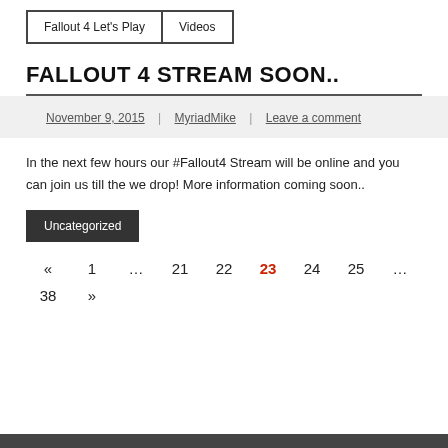Fallout 4 Let's Play | Videos
FALLOUT 4 STREAM SOON..
November 9, 2015 | MyriadMike | Leave a comment
In the next few hours our #Fallout4 Stream will be online and you can join us till the we drop! More information coming soon..
Uncategorized
« 1 … 21 22 23 24 25 … 38 »